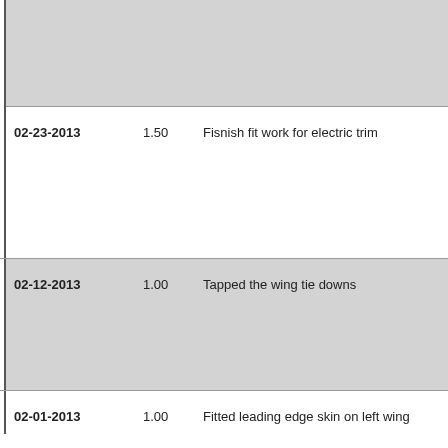| Date | Hours | Description |
| --- | --- | --- |
| 02-23-2013 | 1.50 | Fisnish fit work for electric trim |
| 02-12-2013 | 1.00 | Tapped the wing tie downs |
| 02-01-2013 | 1.00 | Fitted leading edge skin on left wing |